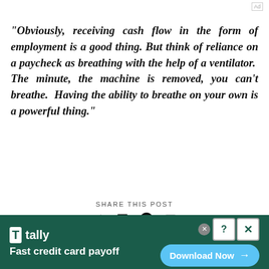"Obviously, receiving cash flow in the form of employment is a good thing. But think of reliance on a paycheck as breathing with the help of a ventilator. The minute, the machine is removed, you can't breathe. Having the ability to breathe on your own is a powerful thing."
SHARE THIS POST
[Figure (other): Social share icons: Twitter/X, Facebook, Pinterest, Email]
[Figure (other): Tally advertisement banner - Fast credit card payoff - Download Now button]